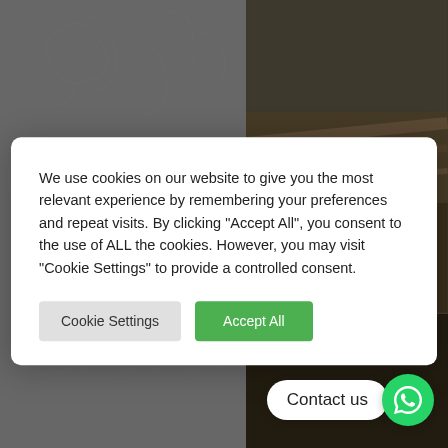[Figure (screenshot): Website background with gray patterned left side showing decorative leaf/feather swirl motifs, and dark photo panels on the right showing interior architectural images. A cookie consent modal dialog overlays the center of the page. At the bottom right is a 'Contact us' WhatsApp button.]
We use cookies on our website to give you the most relevant experience by remembering your preferences and repeat visits. By clicking "Accept All", you consent to the use of ALL the cookies. However, you may visit "Cookie Settings" to provide a controlled consent.